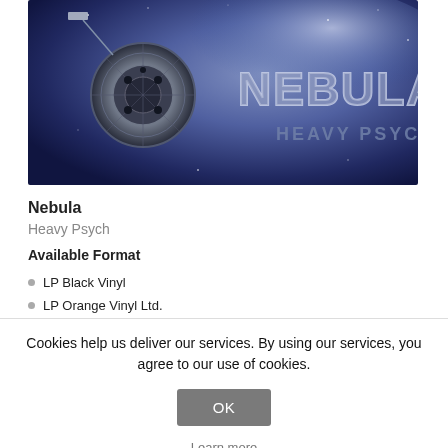[Figure (illustration): Album cover for 'Nebula - Heavy Psych' showing a space-themed image with a mechanical/satellite object on the left against a blue and white nebula background, with large stylized text 'NEBULA' and 'HEAVY PSYC' on the right side.]
Nebula
Heavy Psych
Available Format
LP Black Vinyl
LP Orange Vinyl Ltd.
Cookies help us deliver our services. By using our services, you agree to our use of cookies.
OK
Learn more